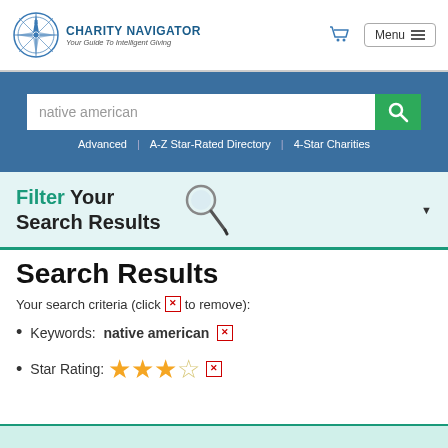CHARITY NAVIGATOR - Your Guide To Intelligent Giving
Search box: native american
Advanced | A-Z Star-Rated Directory | 4-Star Charities
Filter Your Search Results
Search Results
Your search criteria (click [x] to remove):
Keywords: native american [x]
Star Rating: ★★★☆ [x]